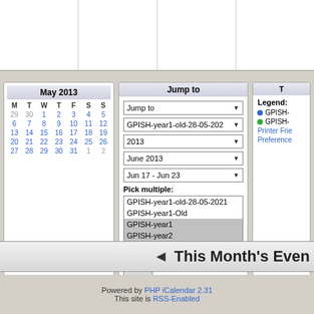[Figure (screenshot): Top portion of a web calendar grid showing empty day cells with borders]
[Figure (screenshot): Mini calendar widget showing May 2013 with dates in blue and gray]
[Figure (screenshot): Jump to panel with dropdowns for calendar/year/month/week selection and multi-select listbox with Go button]
[Figure (screenshot): Partial legend panel showing GPISH calendar entries and links]
This Month's Even
Powered by PHP iCalendar 2.31
This site is RSS-Enabled